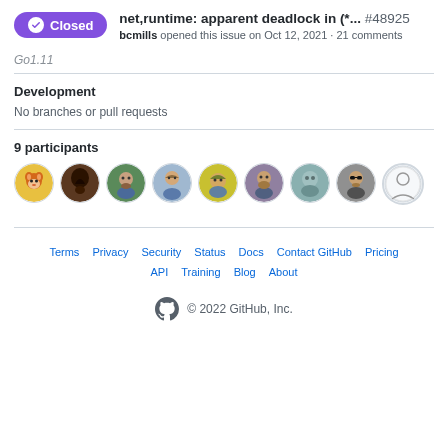net,runtime: apparent deadlock in (*... #48925 bcmills opened this issue on Oct 12, 2021 · 21 comments
Go1.11
Development
No branches or pull requests
9 participants
[Figure (illustration): 9 circular avatar images of participants]
Terms · Privacy · Security · Status · Docs · Contact GitHub · Pricing · API · Training · Blog · About · © 2022 GitHub, Inc.